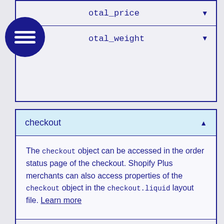[Figure (logo): Dark blue circle logo with three white wavy lines]
otal_price ▼
otal_weight ▼
checkout ▲
The checkout object can be accessed in the order status page of the checkout. Shopify Plus merchants can also access properties of the checkout object in the checkout.liquid layout file. Learn more
checkout.applied_gift_cards ▼
checkout.attributes ▼
checkout.billing_address ▼
checkout.buyer_accepts_marketing ▼